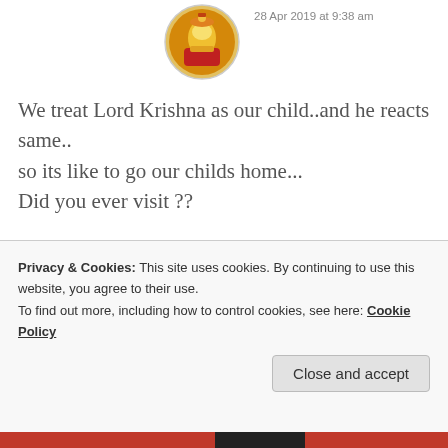[Figure (photo): Circular avatar image of a colorful Hindu deity illustration]
28 Apr 2019 at 9:38 am
We treat Lord Krishna as our child..and he reacts same..
so its like to go our childs home...
Did you ever visit ??
★ Like
[Figure (photo): Circular avatar with dark reddish-brown tones]
ZEALOUS HOMO SAPIENS
Privacy & Cookies: This site uses cookies. By continuing to use this website, you agree to their use.
To find out more, including how to control cookies, see here: Cookie Policy
Close and accept